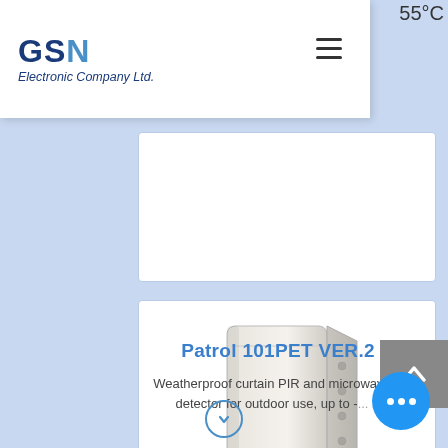GSN Electronic Company Ltd.
55°C
[Figure (photo): White weatherproof outdoor PIR and microwave detector device (Patrol 101PET VER.2) shown at an angle, featuring a rectangular housing with ridged sides and ventilation slots at the bottom.]
Patrol 101PET VER.2
Weatherproof curtain PIR and microwave detector for outdoor use, up to -...